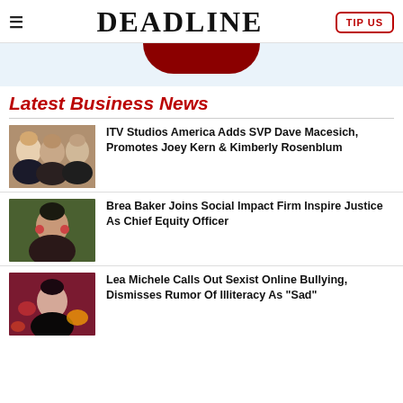DEADLINE
[Figure (other): Red rounded banner/ad element on light blue background]
Latest Business News
[Figure (photo): Three people headshots - ITV Studios America executives]
ITV Studios America Adds SVP Dave Macesich, Promotes Joey Kern & Kimberly Rosenblum
[Figure (photo): Headshot of Brea Baker]
Brea Baker Joins Social Impact Firm Inspire Justice As Chief Equity Officer
[Figure (photo): Headshot of Lea Michele]
Lea Michele Calls Out Sexist Online Bullying, Dismisses Rumor Of Illiteracy As "Sad"